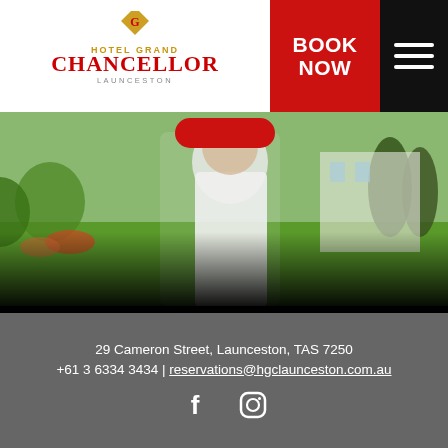[Figure (logo): Hotel Grand Chancellor Launceston logo with golden G emblem and red/gold text]
BOOK NOW
[Figure (photo): Person in white jacket/chef coat walking outdoors on green lawn with building in background]
29 Cameron Street, Launceston, TAS 7250
+61 3 6334 3434 | reservations@hgclaunceston.com.au
[Figure (infographic): Facebook and Instagram social media icons in white]